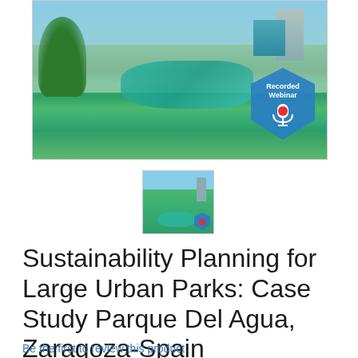[Figure (photo): Aerial/ground-level photo of Parque Del Agua (Water Park) in Zaragoza, Spain, showing green lawns, water channels, trees, and modern buildings in the background. A 'Recorded Webinar' badge with a microphone icon is overlaid in the lower right of the image.]
[Figure (photo): Small thumbnail version of the same Parque Del Agua photo with the Recorded Webinar badge visible.]
Sustainability Planning for Large Urban Parks: Case Study Parque Del Agua, Zaragoza-Spain
Be the first to review this product